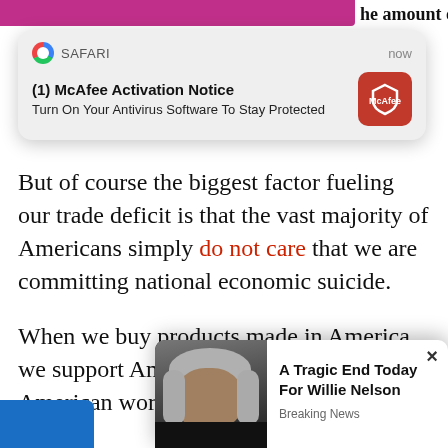[Figure (screenshot): Safari browser push notification from McAfee: '(1) McAfee Activation Notice — Turn On Your Antivirus Software To Stay Protected', shown as a rounded card overlay with McAfee red logo icon, top-right timestamp 'now']
But of course the biggest factor fueling our trade deficit is that the vast majority of Americans simply do not care that we are committing national economic suicide.
When we buy products made in America, we support American businesses and American workers.
When we buy products made overseas, we hurt American... we make...
[Figure (screenshot): Ad/clickbait popup overlay showing a photo of Willie Nelson with the headline 'A Tragic End Today For Willie Nelson' and subtext 'Breaking News', with a close (×) button at top right]